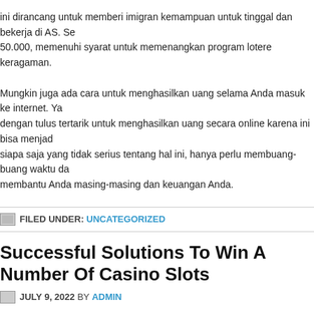ini dirancang untuk memberi imigran kemampuan untuk tinggal dan bekerja di AS. Se 50.000, memenuhi syarat untuk memenangkan program lotere keragaman.
Mungkin juga ada cara untuk menghasilkan uang selama Anda masuk ke internet. Ya dengan tulus tertarik untuk menghasilkan uang secara online karena ini bisa menjad siapa saja yang tidak serius tentang hal ini, hanya perlu membuang-buang waktu da membantu Anda masing-masing dan keuangan Anda.
FILED UNDER: UNCATEGORIZED
Successful Solutions To Win A Number Of Casino Slots
JULY 9, 2022 BY ADMIN
They provide players with the best overall online gaming experience that we've ever platform like RTG, players will love Slots Jungle from day one. Add into this mixture t and bonuses, actually easy notice what can make them so successful.
When are usually playing slots in online casinos, need to carefully plan how much yo you stay in your own planned budget and not spend any more. In fact one of extreme to be able to break increase budget into smaller chunks, using quarters rather than d specific amount – say thirty minutes for $25 dollars. Setup you play, the higher your c casino guide will carry great support in shaping your slots strategy as well as finding
Invite friends when you play. Can be more fantastic. Besides, they in order to the...